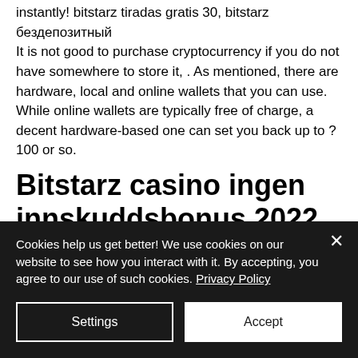instantly! bitstarz tiradas gratis 30, bitstarz бездепозитный
 It is not good to purchase cryptocurrency if you do not have somewhere to store it, . As mentioned, there are hardware, local and online wallets that you can use. While online wallets are typically free of charge, a decent hardware-based one can set you back up to ?100 or so.
Bitstarz casino ingen innskuddsbonus 2022, bitstarz casino 30
Cookies help us get better! We use cookies on our website to see how you interact with it. By accepting, you agree to our use of such cookies. Privacy Policy